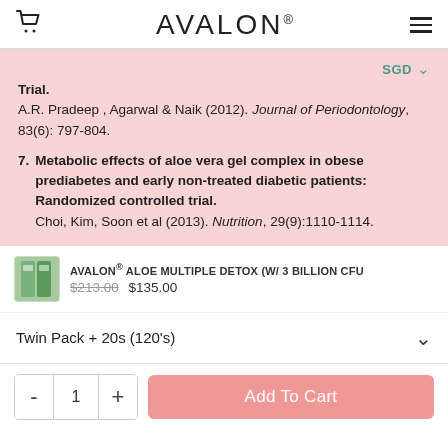AVALON®
Trial.
A.R. Pradeep , Agarwal & Naik (2012). Journal of Periodontology, 83(6): 797-804.
7. Metabolic effects of aloe vera gel complex in obese prediabetes and early non-treated diabetic patients: Randomized controlled trial.
Choi, Kim, Soon et al (2013). Nutrition, 29(9):1110-1114.
AVALON® ALOE MULTIPLE DETOX (W/ 3 BILLION CFU)
$213.00  $135.00
Twin Pack + 20s (120's)
- 1 +  Add To Cart